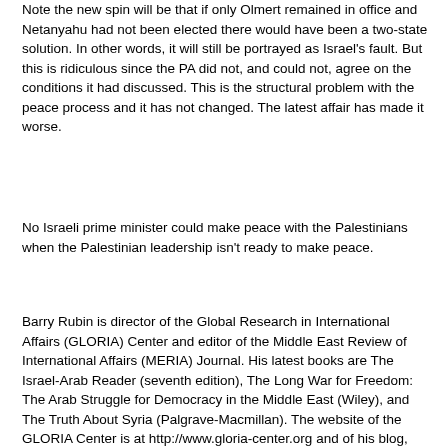Note the new spin will be that if only Olmert remained in office and Netanyahu had not been elected there would have been a two-state solution. In other words, it will still be portrayed as Israel's fault. But this is ridiculous since the PA did not, and could not, agree on the conditions it had discussed. This is the structural problem with the peace process and it has not changed. The latest affair has made it worse.
No Israeli prime minister could make peace with the Palestinians when the Palestinian leadership isn't ready to make peace.
Barry Rubin is director of the Global Research in International Affairs (GLORIA) Center and editor of the Middle East Review of International Affairs (MERIA) Journal. His latest books are The Israel-Arab Reader (seventh edition), The Long War for Freedom: The Arab Struggle for Democracy in the Middle East (Wiley), and The Truth About Syria (Palgrave-Macmillan). The website of the GLORIA Center is at http://www.gloria-center.org and of his blog, Rubin Reports, http://www.rubinreports.blogspot.com.